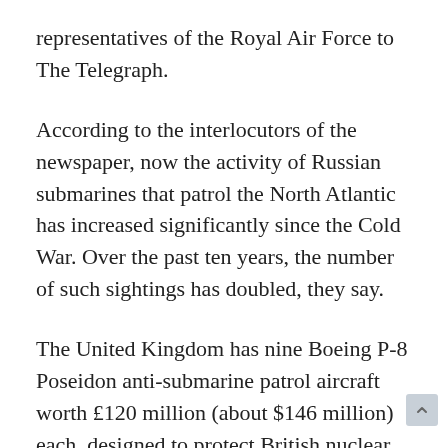representatives of the Royal Air Force to The Telegraph.
According to the interlocutors of the newspaper, now the activity of Russian submarines that patrol the North Atlantic has increased significantly since the Cold War. Over the past ten years, the number of such sightings has doubled, they say.
The United Kingdom has nine Boeing P-8 Poseidon anti-submarine patrol aircraft worth £120 million (about $146 million) each, designed to protect British nuclear submarines and track enemy ships. According to Air Lieutenant Colonel Ben Livesey, their number needs to be